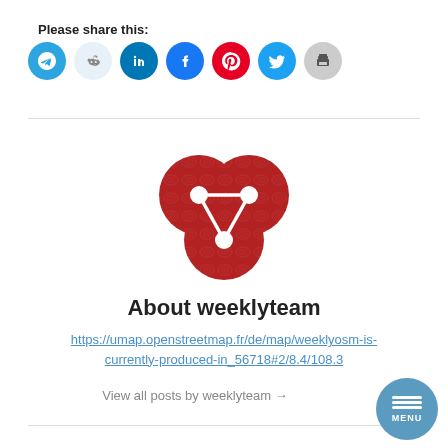Please share this:
[Figure (infographic): Row of social media share buttons: Telegram (blue), Reddit (light blue), LinkedIn (blue), Facebook (blue), Pinterest (red), Twitter (blue), Print (gray)]
[Figure (logo): WeeklyOSM logo - red share/network icon with topographic line texture]
About weeklyteam
https://umap.openstreetmap.fr/de/map/weeklyosm-is-currently-produced-in_56718#2/8.4/108.3
View all posts by weeklyteam →